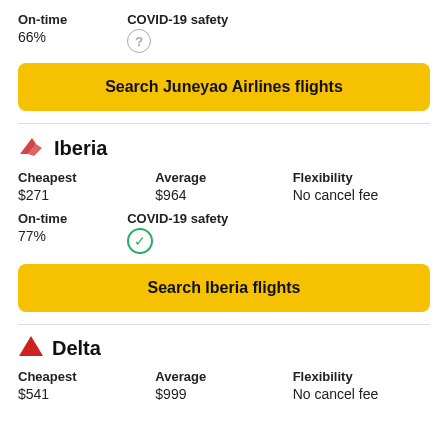On-time
66%
COVID-19 safety
?
Search Juneyao Airlines flights
[Figure (logo): Iberia airline logo - red stylized bird/wing]
Iberia
Cheapest
$271
Average
$964
Flexibility
No cancel fee
On-time
77%
COVID-19 safety
(green checkmark)
Search Iberia flights
[Figure (logo): Delta airline logo - red triangle]
Delta
Cheapest
$541
Average
$999
Flexibility
No cancel fee